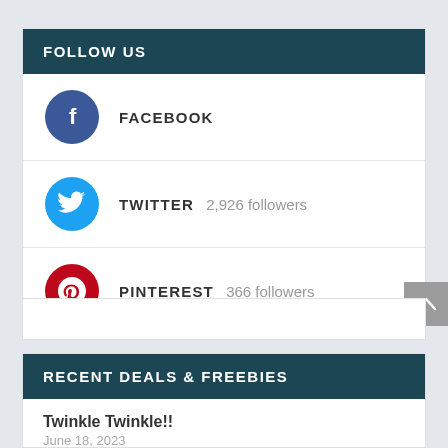FOLLOW US
FACEBOOK
TWITTER 2,926 followers
PINTEREST 366 followers
RECENT DEALS & FREEBIES
Twinkle Twinkle!!